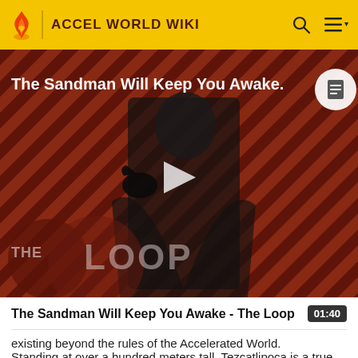ACCEL WORLD WIKI
[Figure (screenshot): Video thumbnail for 'The Sandman Will Keep You Awake - The Loop' showing a dark figure in a black cloak against a diagonal striped red/dark background, with THE LOOP logo in bottom left and a play button in the center.]
The Sandman Will Keep You Awake - The Loop  01:40
existing beyond the rules of the Accelerated World.
Standing at over a hundred meters tall, Tezcatlipoca is a true titan.[2] In spite of its height, however, the